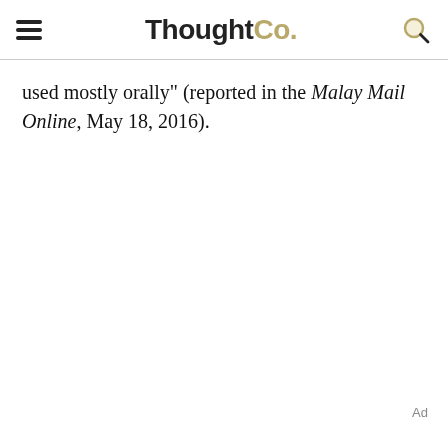ThoughtCo.
used mostly orally" (reported in the Malay Mail Online, May 18, 2016).
Ad